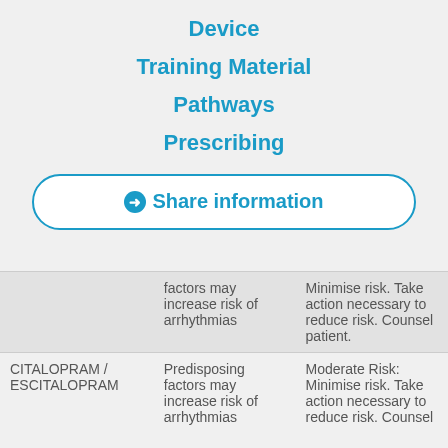Device
Training Material
Pathways
Prescribing
➔ Share information
|  |  |  |
| --- | --- | --- |
|  | factors may increase risk of arrhythmias | Minimise risk. Take action necessary to reduce risk. Counsel patient. |
| CITALOPRAM / ESCITALOPRAM | Predisposing factors may increase risk of arrhythmias | Moderate Risk: Minimise risk. Take action necessary to reduce risk. Counsel |